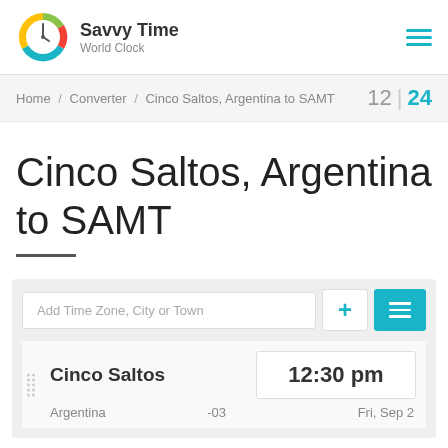[Figure (logo): Savvy Time World Clock logo with colorful clock icon]
Savvy Time
World Clock
Home / Converter / Cinco Saltos, Argentina to SAMT   12 | 24
Cinco Saltos, Argentina to SAMT
Add Time Zone, City or Town
Cinco Saltos   12:30 pm
Argentina   -03   Fri, Sep 2